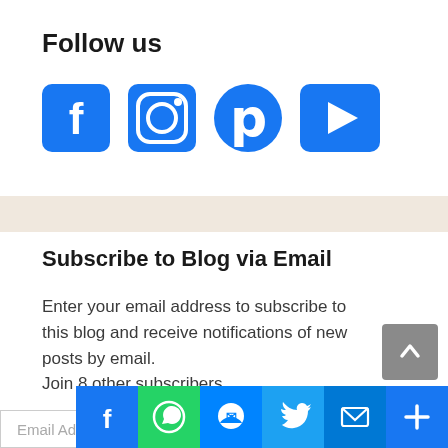Follow us
[Figure (illustration): Four social media icons in blue: Facebook (f), Instagram (camera), Pinterest (P), YouTube (play button)]
Subscribe to Blog via Email
Enter your email address to subscribe to this blog and receive notifications of new posts by email.
Join 8 other subscribers
[Figure (illustration): Social share bar at bottom: Facebook (blue), WhatsApp (green), Messenger (blue), Twitter (blue), Email (blue), More/Plus (blue). Also a scroll-to-top grey button.]
Email Addr...